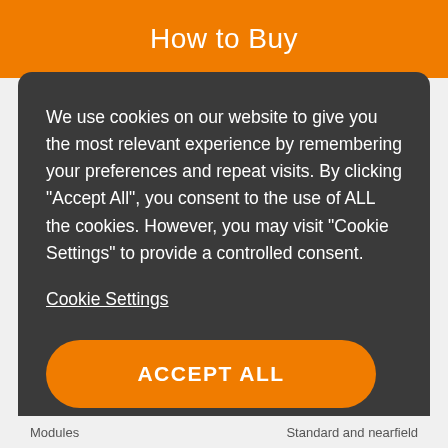How to Buy
We use cookies on our website to give you the most relevant experience by remembering your preferences and repeat visits. By clicking “Accept All”, you consent to the use of ALL the cookies. However, you may visit “Cookie Settings” to provide a controlled consent.
Cookie Settings
ACCEPT ALL
Modules    Standard and nearfield